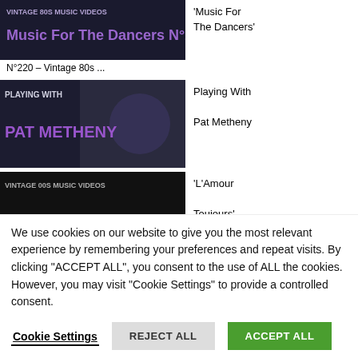[Figure (screenshot): Thumbnail image: Vintage 80s Music Videos - Music For The Dancers N°220, with purple text overlay on dark background]
'Music For The Dancers'
N°220 – Vintage 80s ...
[Figure (screenshot): Thumbnail image: Playing With Pat Metheny, purple text on dark background with musician photo]
Playing With Pat Metheny
[Figure (screenshot): Thumbnail image: Vintage 00s Music Videos - L'Amour Toujours N°212, teal text on dark background]
'L'Amour Toujours'
N°212 – Vintage 2000s Music ...
[Figure (screenshot): Partially visible thumbnail at bottom]
We use cookies on our website to give you the most relevant experience by remembering your preferences and repeat visits. By clicking "ACCEPT ALL", you consent to the use of ALL the cookies. However, you may visit "Cookie Settings" to provide a controlled consent.
Cookie Settings
REJECT ALL
ACCEPT ALL